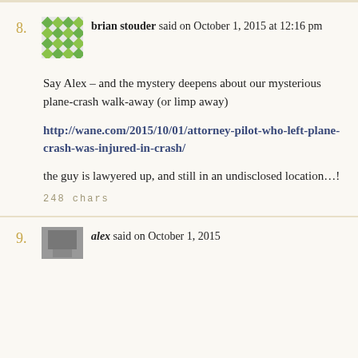8. brian stouder said on October 1, 2015 at 12:16 pm

Say Alex – and the mystery deepens about our mysterious plane-crash walk-away (or limp away)

http://wane.com/2015/10/01/attorney-pilot-who-left-plane-crash-was-injured-in-crash/

the guy is lawyered up, and still in an undisclosed location…!

248 chars
9. alex said on October 1, 2015 …